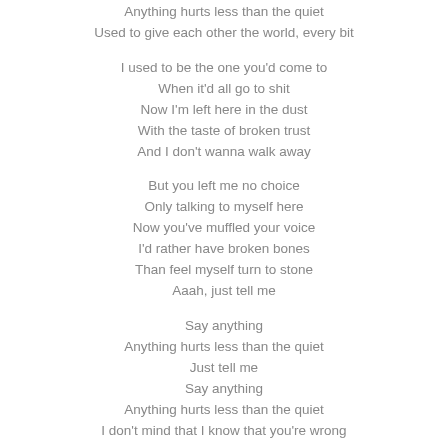Anything hurts less than the quiet
Used to give each other the world, every bit
I used to be the one you'd come to
When it'd all go to shit
Now I'm left here in the dust
With the taste of broken trust
And I don't wanna walk away
But you left me no choice
Only talking to myself here
Now you've muffled your voice
I'd rather have broken bones
Than feel myself turn to stone
Aaah, just tell me
Say anything
Anything hurts less than the quiet
Just tell me
Say anything
Anything hurts less than the quiet
I don't mind that I know that you're wrong